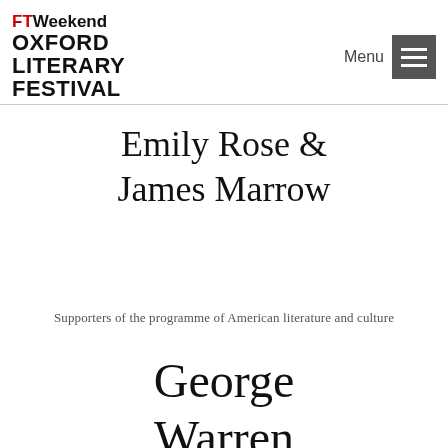FT Weekend Oxford Literary Festival | Menu
Emily Rose & James Marrow
Supporters of the programme of American literature and culture
George Warren